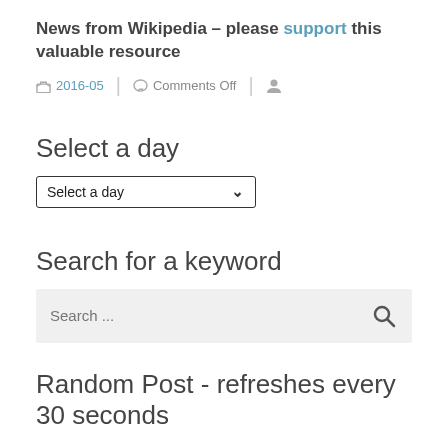News from Wikipedia – please support this valuable resource
2016-05 | Comments Off |
Select a day
Select a day (dropdown)
Search for a keyword
Search ...
Random Post - refreshes every 30 seconds